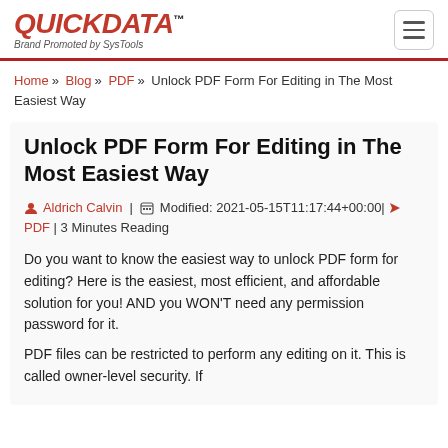QuickData™ Brand Promoted by SysTools
Home » Blog » PDF » Unlock PDF Form For Editing in The Most Easiest Way
Unlock PDF Form For Editing in The Most Easiest Way
Aldrich Calvin | Modified: 2021-05-15T11:17:44+00:00| PDF | 3 Minutes Reading
Do you want to know the easiest way to unlock PDF form for editing? Here is the easiest, most efficient, and affordable solution for you! AND you WON'T need any permission password for it.
PDF files can be restricted to perform any editing on it. This is called owner-level security. If